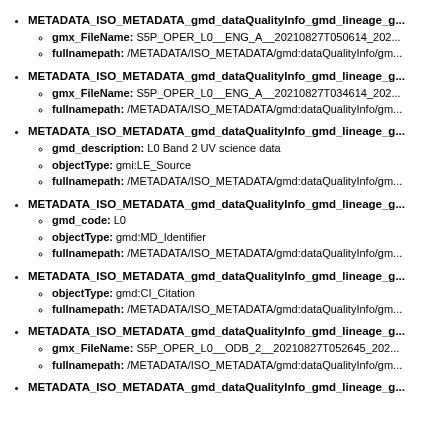METADATA_ISO_METADATA_gmd_dataQualityInfo_gmd_lineage_g...
gmx_FileName: S5P_OPER_L0__ENG_A__20210827T050614_202...
fullnamepath: /METADATA/ISO_METADATA/gmd:dataQualityInfo/gm...
METADATA_ISO_METADATA_gmd_dataQualityInfo_gmd_lineage_g...
gmx_FileName: S5P_OPER_L0__ENG_A__20210827T034614_202...
fullnamepath: /METADATA/ISO_METADATA/gmd:dataQualityInfo/gm...
METADATA_ISO_METADATA_gmd_dataQualityInfo_gmd_lineage_g...
gmd_description: L0 Band 2 UV science data
objectType: gmi:LE_Source
fullnamepath: /METADATA/ISO_METADATA/gmd:dataQualityInfo/gm...
METADATA_ISO_METADATA_gmd_dataQualityInfo_gmd_lineage_g...
gmd_code: L0
objectType: gmd:MD_Identifier
fullnamepath: /METADATA/ISO_METADATA/gmd:dataQualityInfo/gm...
METADATA_ISO_METADATA_gmd_dataQualityInfo_gmd_lineage_g...
objectType: gmd:CI_Citation
fullnamepath: /METADATA/ISO_METADATA/gmd:dataQualityInfo/gm...
METADATA_ISO_METADATA_gmd_dataQualityInfo_gmd_lineage_g...
gmx_FileName: S5P_OPER_L0__ODB_2__20210827T052645_202...
fullnamepath: /METADATA/ISO_METADATA/gmd:dataQualityInfo/gm...
METADATA_ISO_METADATA_gmd_dataQualityInfo_gmd_lineage_g...